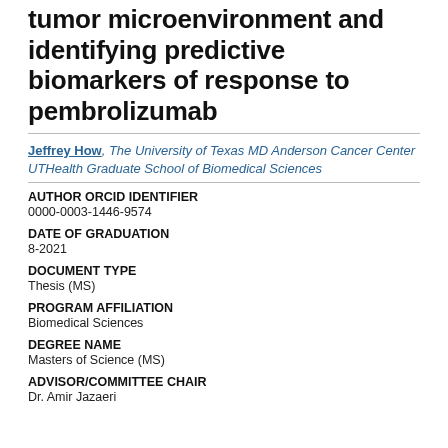tumor microenvironment and identifying predictive biomarkers of response to pembrolizumab
Jeffrey How, The University of Texas MD Anderson Cancer Center UTHealth Graduate School of Biomedical Sciences
AUTHOR ORCID IDENTIFIER
0000-0003-1446-9574
DATE OF GRADUATION
8-2021
DOCUMENT TYPE
Thesis (MS)
PROGRAM AFFILIATION
Biomedical Sciences
DEGREE NAME
Masters of Science (MS)
ADVISOR/COMMITTEE CHAIR
Dr. Amir Jazaeri